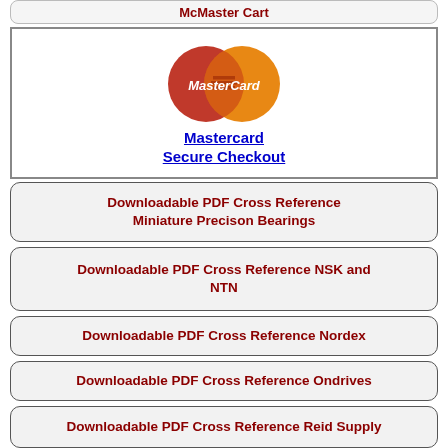McMaster Cart
[Figure (logo): MasterCard logo with two overlapping circles (red and orange/yellow) and MasterCard text]
Mastercard
Secure Checkout
Downloadable PDF Cross Reference Miniature Precison Bearings
Downloadable PDF Cross Reference NSK and NTN
Downloadable PDF Cross Reference Nordex
Downloadable PDF Cross Reference Ondrives
Downloadable PDF Cross Reference Reid Supply
Downloadable PDF Cross Reference SDP-SI Designatronics